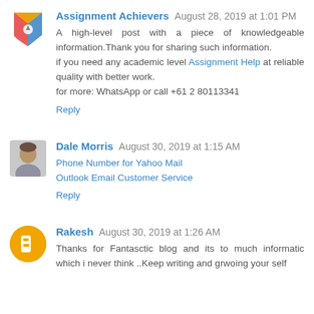[Figure (logo): Assignment Achievers logo - colorful shield/crest icon]
Assignment Achievers August 28, 2019 at 1:01 PM
A high-level post with a piece of knowledgeable information.Thank you for sharing such information.
if you need any academic level Assignment Help at reliable quality with better work.
for more: WhatsApp or call +61 2 80113341
Reply
[Figure (photo): Dale Morris profile photo - man in grey shirt]
Dale Morris August 30, 2019 at 1:15 AM
Phone Number for Yahoo Mail
Outlook Email Customer Service
Reply
[Figure (illustration): Rakesh avatar - orange circle with blogger B icon]
Rakesh August 30, 2019 at 1:26 AM
Thanks for Fantasctic blog and its to much informatic which i never think ..Keep writing and grwoing your self